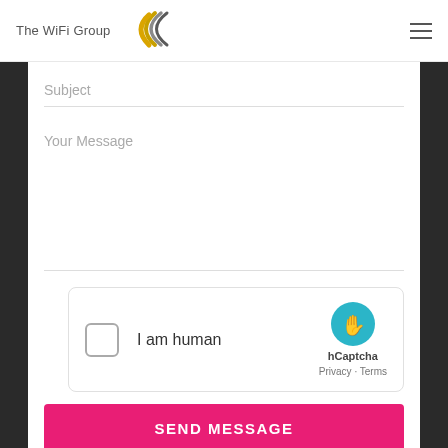[Figure (logo): The WiFi Group logo with arced lines icon in gold and grey]
Subject
Your Message
[Figure (other): hCaptcha widget with checkbox, 'I am human' text, hCaptcha badge, Privacy - Terms links]
SEND MESSAGE